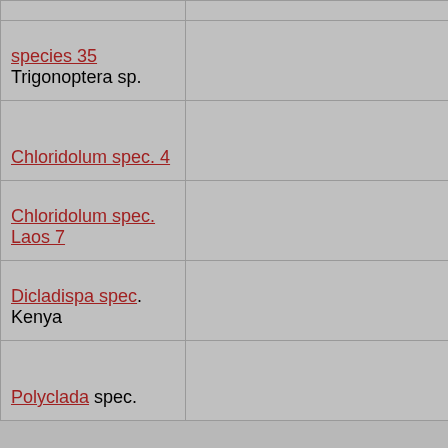|  |  |
| species 35
Trigonoptera sp. |  |
| Chloridolum spec. 4 |  |
| Chloridolum spec. Laos 7 |  |
| Dicladispa spec.
Kenya |  |
| Polyclada spec. |  |